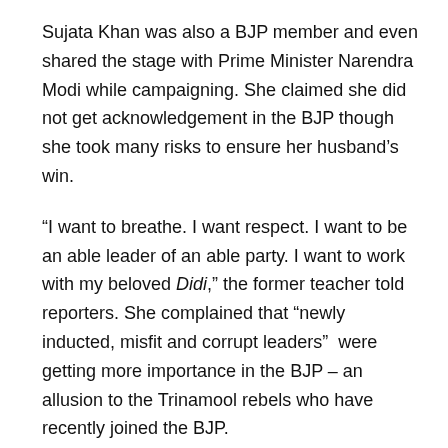Sujata Khan was also a BJP member and even shared the stage with Prime Minister Narendra Modi while campaigning. She claimed she did not get acknowledgement in the BJP though she took many risks to ensure her husband's win.
“I want to breathe. I want respect. I want to be an able leader of an able party. I want to work with my beloved Didi,” the former teacher told reporters. She complained that “newly inducted, misfit and corrupt leaders”  were getting more importance in the BJP – an allusion to the Trinamool rebels who have recently joined the BJP.
“Despite enduring physical attacks, sacrificing so much to